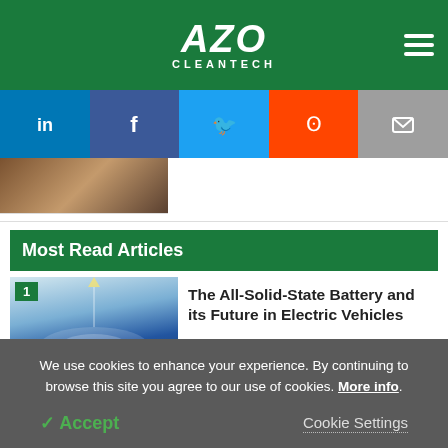AZO CLEANTECH
[Figure (logo): AZO Cleantech logo with white italic bold text on green background, hamburger menu icon on right]
[Figure (infographic): Social media share buttons: LinkedIn (blue), Facebook (dark blue), Twitter (light blue), Reddit (orange), Email (grey)]
[Figure (photo): Small photo strip showing jars/bottles, brown and amber colored containers]
Most Read Articles
[Figure (photo): Article thumbnail showing an electric vehicle charging lane marked with EV symbol on pavement, bright sunlight, number 1 badge in green]
The All-Solid-State Battery and its Future in Electric Vehicles
We use cookies to enhance your experience. By continuing to browse this site you agree to our use of cookies. More info.
Accept
Cookie Settings